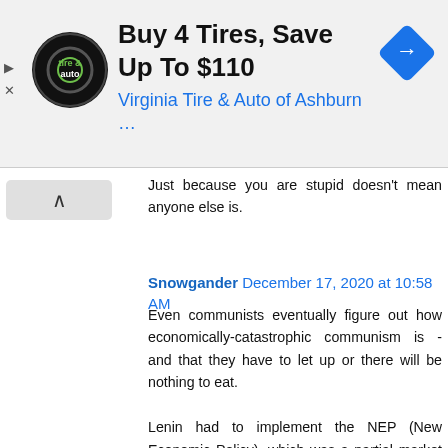[Figure (screenshot): Advertisement banner for Virginia Tire & Auto of Ashburn with logo, headline 'Buy 4 Tires, Save Up To $110', and a blue navigation diamond icon.]
Just because you are stupid doesn't mean anyone else is.
Snowgander  December 17, 2020 at 10:58 AM
Even communists eventually figure out how economically-catastrophic communism is - and that they have to let up or there will be nothing to eat.

Lenin had to implement the NEP (New Economic Policy), which was a partial market economy - since his pure communism had totaled the economy. And it was Deng Xiaoping who created the market opening in China. The bet was that they could open up the economy without opening up the political system. We'll see...